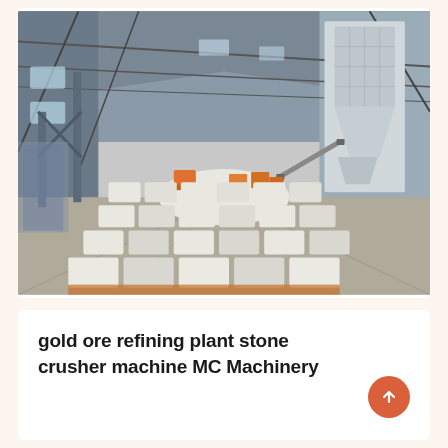[Figure (photo): Interior of an industrial warehouse/plant with large quantities of white-bagged goods stacked in rows on the floor, industrial machinery and silos visible in the background, steel roof structure overhead, orange pallet jacks and equipment visible mid-floor.]
gold ore refining plant stone crusher machine MC Machinery